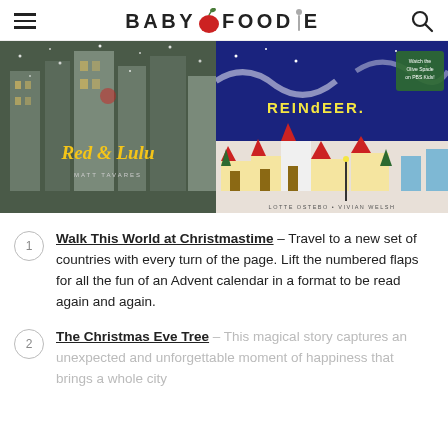BABY FOODIE
[Figure (photo): Book cover: Red & Lulu by Matt Tavares — a snowy city skyline with a Christmas tree and italic gold title text]
[Figure (photo): Book cover: Reindeer — colorful illustrated village with red-roofed houses on a dark blue night sky]
Walk This World at Christmastime – Travel to a new set of countries with every turn of the page. Lift the numbered flaps for all the fun of an Advent calendar in a format to be read again and again.
The Christmas Eve Tree – This magical story captures an unexpected and unforgettable moment of happiness that brings a whole city